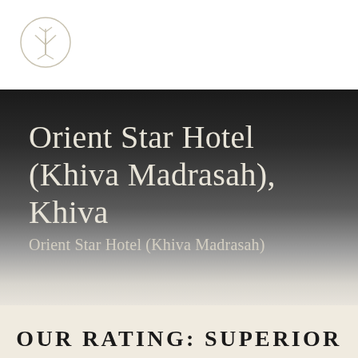[Figure (logo): Circular logo with a stylized tree or plant icon inside, thin outline circle, light beige/cream color on white background]
Orient Star Hotel (Khiva Madrasah), Khiva
Orient Star Hotel (Khiva Madrasah)
OUR RATING: SUPERIOR